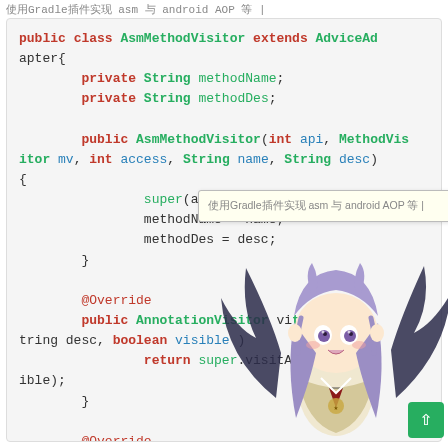使用Gradle插件实现 asm 与 android AOP 等 |
[Figure (screenshot): Code snippet showing Java class AsmMethodVisitor extending AdviceAdapter with fields and methods, partially overlaid by an anime mascot character (chibi bat-wing girl) and a tooltip referencing Gradle/asm/android AOP]
public class AsmMethodVisitor extends AdviceAdapter{
    private String methodName;
    private String methodDes;

    public AsmMethodVisitor(int api, MethodVisitor mv, int access, String name, String desc) {
        super(api, mv, access, name, desc);
        methodName = name;
        methodDes = desc;
    }

    @Override
    public AnnotationVisitor visitAnnotation(String desc, boolean visible) {
        return super.visitAnnotation(desc, visible);
    }

    @Override